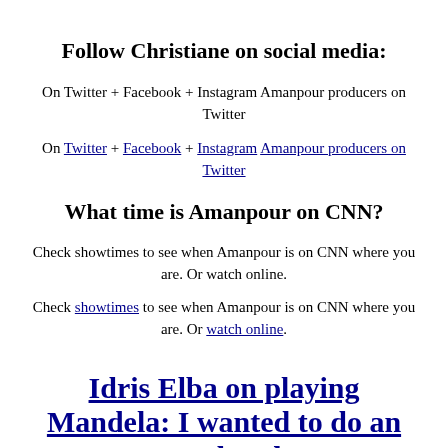Follow Christiane on social media:
On Twitter + Facebook + Instagram Amanpour producers on Twitter
On Twitter + Facebook + Instagram Amanpour producers on Twitter
What time is Amanpour on CNN?
Check showtimes to see when Amanpour is on CNN where you are. Or watch online.
Check showtimes to see when Amanpour is on CNN where you are. Or watch online.
Idris Elba on playing Mandela: I wanted to do an